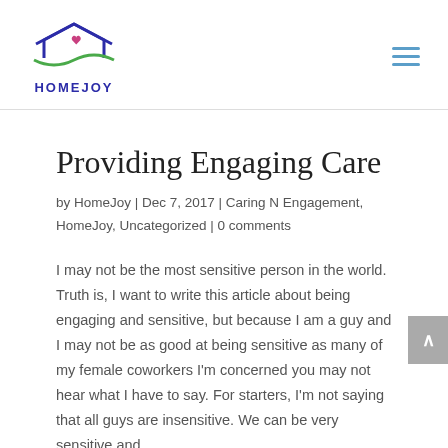[Figure (logo): HomeJoy logo: house outline in blue/green with a heart, text HOMEJOY below in blue]
Providing Engaging Care
by HomeJoy | Dec 7, 2017 | Caring N Engagement, HomeJoy, Uncategorized | 0 comments
I may not be the most sensitive person in the world. Truth is, I want to write this article about being engaging and sensitive, but because I am a guy and I may not be as good at being sensitive as many of my female coworkers I'm concerned you may not hear what I have to say. For starters, I'm not saying that all guys are insensitive. We can be very sensitive and